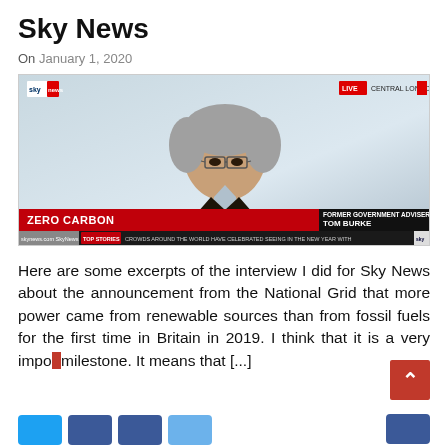Sky News
On January 1, 2020
[Figure (screenshot): Sky News TV screenshot showing Tom Burke, Former Government Adviser on the Environment, in a live interview from Central London. Lower third reads 'ZERO CARBON' and 'FORMER GOVERNMENT ADVISER ON THE ENVIRONMENT TOM BURKE'. Ticker at bottom reads 'CROWDS AROUND THE WORLD HAVE CELEBRATED SEEING IN THE NEW YEAR WITH']
Here are some excerpts of the interview I did for Sky News about the announcement from the National Grid that more power came from renewable sources than from fossil fuels for the first time in Britain in 2019. I think that it is a very impo... milestone. It means that [...]